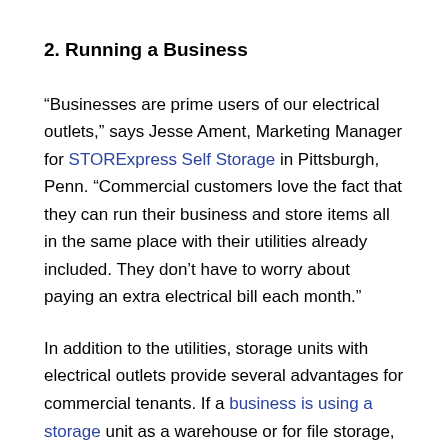2. Running a Business
“Businesses are prime users of our electrical outlets,” says Jesse Ament, Marketing Manager for STORExpress Self Storage in Pittsburgh, Penn. “Commercial customers love the fact that they can run their business and store items all in the same place with their utilities already included. They don’t have to worry about paying an extra electrical bill each month.”
In addition to the utilities, storage units with electrical outlets provide several advantages for commercial tenants. If a business is using a storage unit as a warehouse or for file storage, they may need light when going through inventory. Being able to have lighting in the unit will make it easier for those tenants to grab what they need from their units. Having